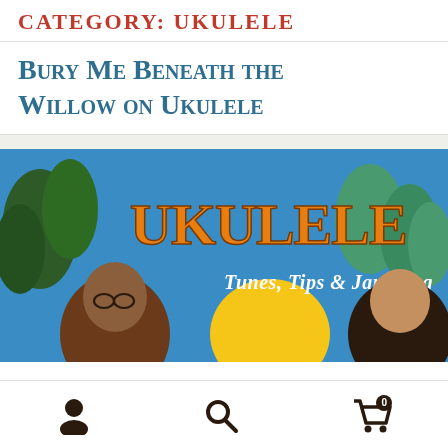CATEGORY: UKULELE
Bury Me Beneath the Willow on Ukulele
[Figure (illustration): Book/magazine cover illustration showing two illustrated people (one with long brown hair and glasses, one with dark hair) against a blue sky with trees and a yellow sun. Large orange text reads 'UKULELE' and subtitle 'Tunes, Tips & Jamming']
User account icon | Search icon | Shopping cart icon with badge showing 0